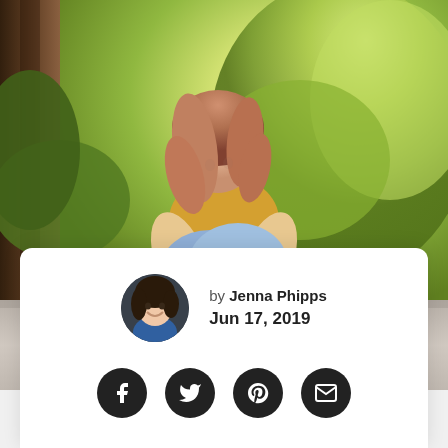[Figure (photo): Young woman with reddish-brown hair sitting on a stone wall outdoors, hugging her knees, wearing pink sneakers, jeans, and a yellow top. Green trees visible in the background with bright sunlight.]
by Jenna Phipps
Jun 17, 2019
[Figure (infographic): Four social sharing icons: Facebook, Twitter, Pinterest, and Email, displayed as dark circular buttons in a row.]